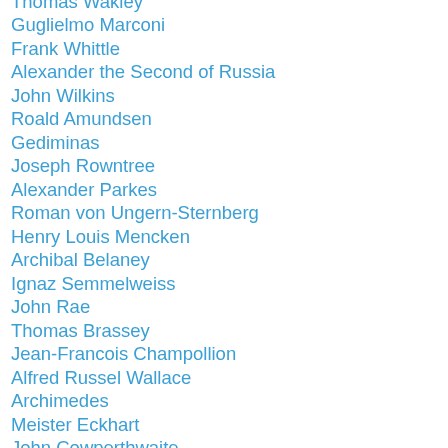Thomas Wakley
Guglielmo Marconi
Frank Whittle
Alexander the Second of Russia
John Wilkins
Roald Amundsen
Gediminas
Joseph Rowntree
Alexander Parkes
Roman von Ungern-Sternberg
Henry Louis Mencken
Archibal Belaney
Ignaz Semmelweiss
John Rae
Thomas Brassey
Jean-Francois Champollion
Alfred Russel Wallace
Archimedes
Meister Eckhart
John Cowperthwaite
Joseph Whitworth
Nicholas of Cusa